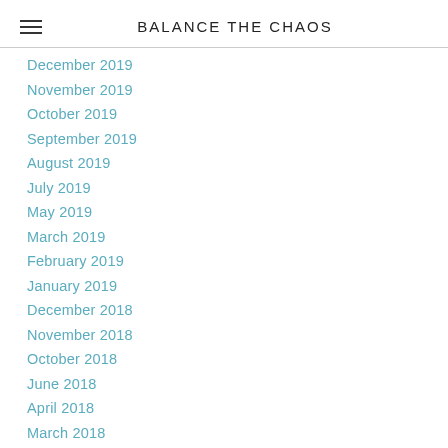BALANCE THE CHAOS
December 2019
November 2019
October 2019
September 2019
August 2019
July 2019
May 2019
March 2019
February 2019
January 2019
December 2018
November 2018
October 2018
June 2018
April 2018
March 2018
January 2018